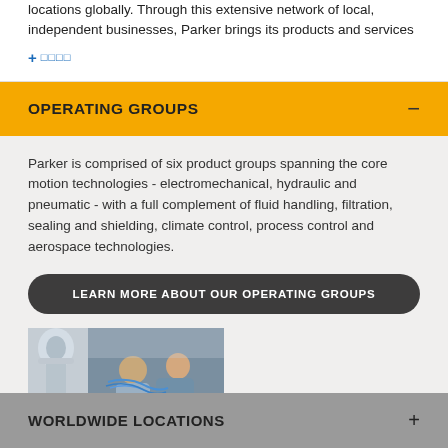locations globally. Through this extensive network of local, independent businesses, Parker brings its products and services
+ □□□□
OPERATING GROUPS
Parker is comprised of six product groups spanning the core motion technologies - electromechanical, hydraulic and pneumatic - with a full complement of fluid handling, filtration, sealing and shielding, climate control, process control and aerospace technologies.
LEARN MORE ABOUT OUR OPERATING GROUPS
[Figure (photo): Two engineers/technicians working on industrial equipment or robotics machinery]
WORLDWIDE LOCATIONS